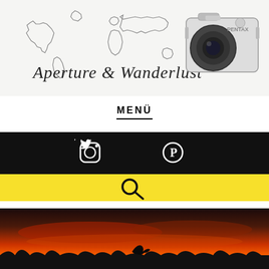[Figure (illustration): Blog header banner showing a hand-drawn world map outline with cursive text 'Aperture & Wanderlust' and a vintage film camera (Pentax) in the top right corner on a white background.]
MENÜ
[Figure (illustration): Black navigation bar with white social media icons: Instagram camera icon, Twitter bird icon, Pinterest P icon.]
[Figure (illustration): Yellow search bar with a black magnifying glass search icon in the center.]
[Figure (photo): Dramatic sunset photo showing a dark orange and red sky with silhouetted landscape and what appears to be a dolphin or bird silhouette jumping at the bottom.]